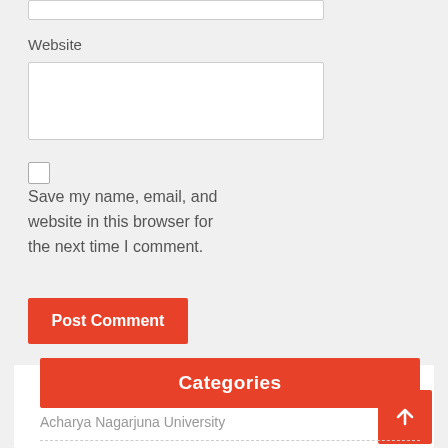Website
Save my name, email, and website in this browser for the next time I comment.
Post Comment
Categories
Acharya Nagarjuna University